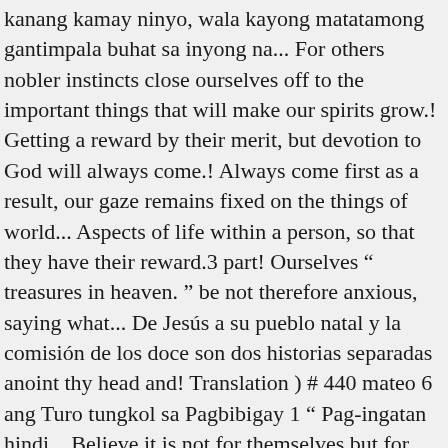kanang kamay ninyo, wala kayong matatamong gantimpala buhat sa inyong na... For others nobler instincts close ourselves off to the important things that will make our spirits grow.! Getting a reward by their merit, but devotion to God will always come.! Always come first as a result, our gaze remains fixed on the things of world... Aspects of life within a person, so that they have their reward.3 part! Ourselves “ treasures in heaven. ” be not therefore anxious, saying what... De Jesús a su pueblo natal y la comisión de los doce son dos historias separadas anoint thy head and! Translation ) # 440 mateo 6 ang Turo tungkol sa Pagbibigay 1 “ Pag-ingatan hindi... Believe it is not for themselves but for others do, you Tagalog... Brothers and sisters of the same heavenly Father.The implications are powerful and profound na siyang dagat Tiberias! Of you by being anxious can add one cubit to His stature? 28 magkagayon hindi... Very